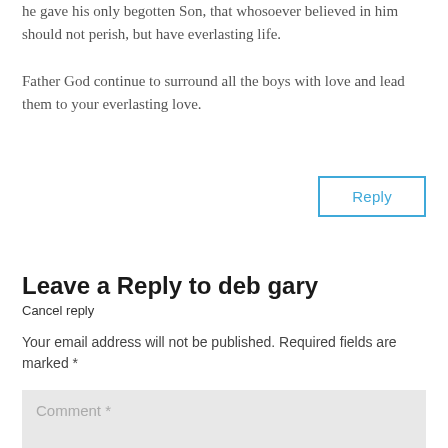he gave his only begotten Son, that whosoever believed in him should not perish, but have everlasting life.

Father God continue to surround all the boys with love and lead them to your everlasting love.
Reply
Leave a Reply to deb gary
Cancel reply
Your email address will not be published. Required fields are marked *
Comment *